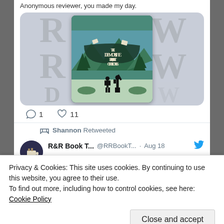Anonymous reviewer, you made my day.
[Figure (illustration): Book cover of 'The Demon, The Hero, and the Secret of The Stones' showing two silhouetted figures against a forest background with mountains and letters]
1  11
Shannon Retweeted
R&R Book T...  @RRBookT... · Aug 18
September is booked solid in terms of tours
Privacy & Cookies: This site uses cookies. By continuing to use this website, you agree to their use.
To find out more, including how to control cookies, see here: Cookie Policy
Close and accept
rrbooktours.com/services-rates/